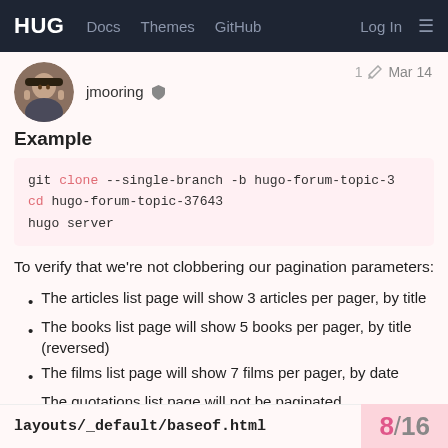HUG  Docs  Themes  GitHub  Log In
jmooring  1  Mar 14
Example
git clone --single-branch -b hugo-forum-topic-3
cd hugo-forum-topic-37643
hugo server
To verify that we're not clobbering our pagination parameters:
The articles list page will show 3 articles per pager, by title
The books list page will show 5 books per pager, by title (reversed)
The films list page will show 7 films per pager, by date
The quotations list page will not be paginated
layouts/_default/baseof.html  8 / 16